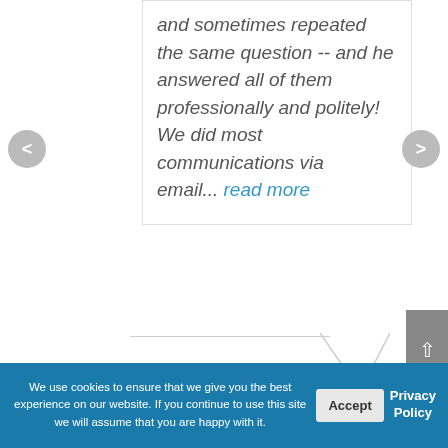and sometimes repeated the same question -- and he answered all of them professionally and politely! We did most communications via email... read more
We use cookies to ensure that we give you the best experience on our website. If you continue to use this site we will assume that you are happy with it.